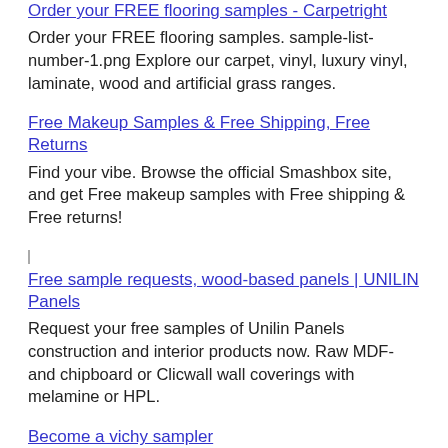Order your FREE flooring samples - Carpetright
Order your FREE flooring samples. sample-list-number-1.png Explore our carpet, vinyl, luxury vinyl, laminate, wood and artificial grass ranges.
Free Makeup Samples & Free Shipping, Free Returns
Find your vibe. Browse the official Smashbox site, and get Free makeup samples with Free shipping & Free returns!
Free sample requests, wood-based panels | UNILIN Panels
Request your free samples of Unilin Panels construction and interior products now. Raw MDF- and chipboard or Clicwall wall coverings with melamine or HPL.
Become a vichy sampler
How to redeem my free samples? Sign up or login to Vichy community; Complete your profile; Head down to our stores to collect your samples! Try the sample.